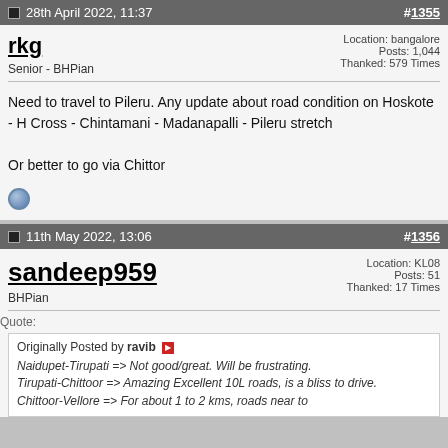28th April 2022, 11:37  #1355
rkg
Senior - BHPian
Location: bangalore
Posts: 1,044
Thanked: 579 Times
Need to travel to Pileru. Any update about road condition on Hoskote - H Cross - Chintamani - Madanapalli - Pileru stretch

Or better to go via Chittor
11th May 2022, 13:06  #1356
sandeep959
BHPian
Location: KL08
Posts: 51
Thanked: 17 Times
Quote:
Originally Posted by ravib
Naidupet-Tirupati => Not good/great. Will be frustrating.
Tirupati-Chittoor => Amazing Excellent 10L roads, is a bliss to drive.
Chittoor-Vellore => For about 1 to 2 kms, roads near to